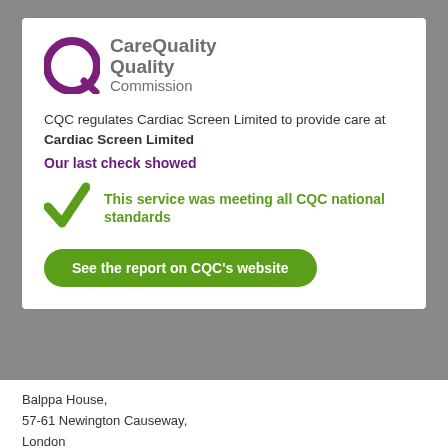[Figure (logo): Care Quality Commission logo — purple circle with Q magnifying glass icon and grey text 'Care Quality Commission']
CQC regulates Cardiac Screen Limited to provide care at Cardiac Screen Limited
Our last check showed
This service was meeting all CQC national standards
See the report on CQC's website
Balppa House,
57-61 Newington Causeway,
London
SE1 6BR